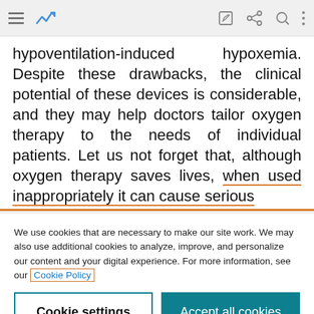[Browser toolbar with menu, trending icon, edit, share, search, more icons]
hypoventilation-induced hypoxemia. Despite these drawbacks, the clinical potential of these devices is considerable, and they may help doctors tailor oxygen therapy to the needs of individual patients. Let us not forget that, although oxygen therapy saves lives, when used inappropriately it can cause serious
We use cookies that are necessary to make our site work. We may also use additional cookies to analyze, improve, and personalize our content and your digital experience. For more information, see our Cookie Policy
Cookie settings
Accept all cookies